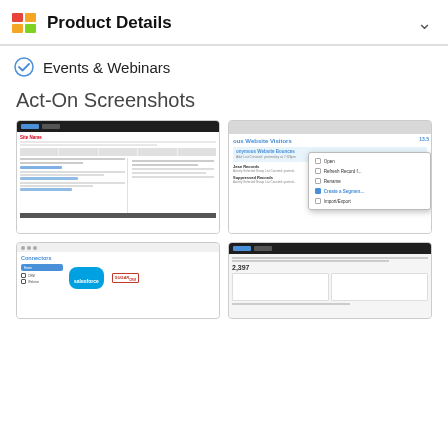Product Details
Events & Webinars
Act-On Screenshots
[Figure (screenshot): Act-On marketing automation platform screenshot showing campaign/list management UI with dark top bar]
[Figure (screenshot): Act-On anonymous website visitors UI showing a dropdown context menu with options: Open, Refresh Record, Rename, Create a Segment, Import/Export]
[Figure (screenshot): Act-On connectors page showing CRM integrations with Salesforce and SugarCRM logos]
[Figure (screenshot): Act-On dark UI screenshot showing analytics/reporting with a large number 2,397 and data table]